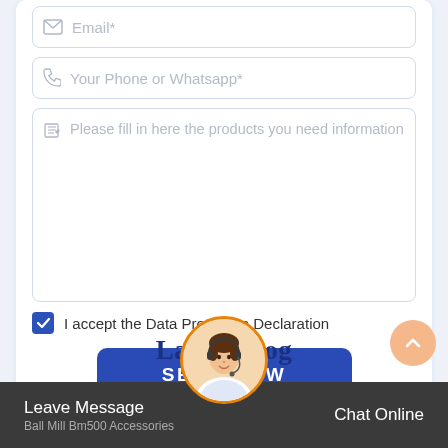[Figure (screenshot): Email input field with envelope icon and asterisk placeholder]
[Figure (screenshot): Phone/Whatsapp input field with phone icon and asterisk placeholder]
[Figure (screenshot): Multi-line textarea with edit icon and placeholder text 'Please fill in here the products you need information']
I accept the Data Protection Declaration
SEND NOW
Latest Blog
Leave Message
Ball Mill Bm500 Accessories
Chat Online